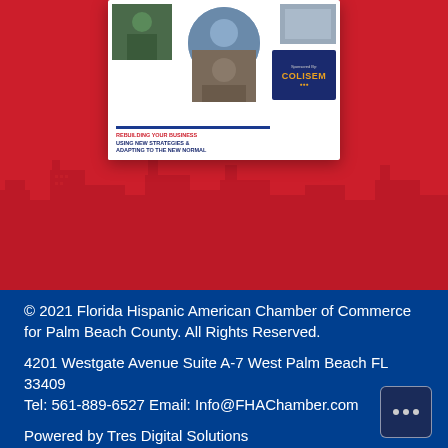[Figure (illustration): Red background section with a promotional flyer/document card showing photos of workers and business people, with text 'REBUILDING YOUR BUSINESS USING NEW STRATEGIES & ADAPTING TO THE NEW NORMAL' and a sponsor box with a logo. City skyline silhouette visible in background.]
© 2021 Florida Hispanic American Chamber of Commerce for Palm Beach County. All Rights Reserved.
4201 Westgate Avenue Suite A-7 West Palm Beach FL 33409 Tel: 561-889-6527 Email: Info@FHAChamber.com
Powered by Tres Digital Solutions